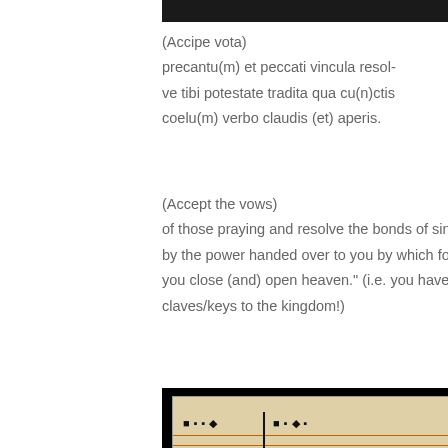[Figure (photo): Top portion of a black image strip, partially cropped at top of page]
(Accipe vota)
precantu(m) et peccati vincula resol-
ve tibi potestate tradita qua cu(n)ctis
coelu(m) verbo claudis (et) aperis.
(Accept the vows)
of those praying and resolve the bonds of sin
by the power handed over to you by which for all
you close (and) open heaven." (i.e. you have the
claves/keys to the kingdom!)
[Figure (photo): Photograph of a medieval manuscript page showing Gregorian chant notation with neumes on staff lines and text reading 'aperis. E Gregi / e Doctor Paule / mores inftrue&' with a red illuminated capital E]